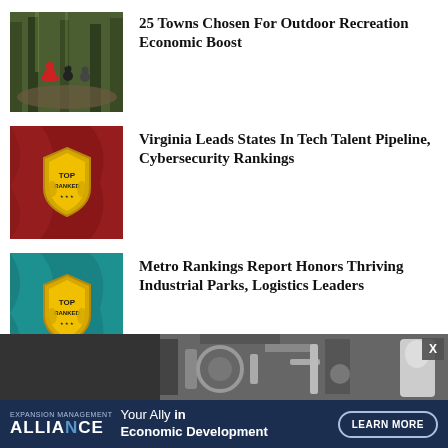[Figure (photo): People mountain biking on a forest trail]
25 Towns Chosen For Outdoor Recreation Economic Boost
[Figure (photo): Top Ranked badge on red fabric background]
Virginia Leads States In Tech Talent Pipeline, Cybersecurity Rankings
[Figure (photo): Top Ranked badge on teal fabric background]
Metro Rankings Report Honors Thriving Industrial Parks, Logistics Leaders
[Figure (photo): Industrial machinery, black and white photo]
[Figure (logo): Alliance logo - Your Ally in Economic Development advertisement banner with Learn More button]